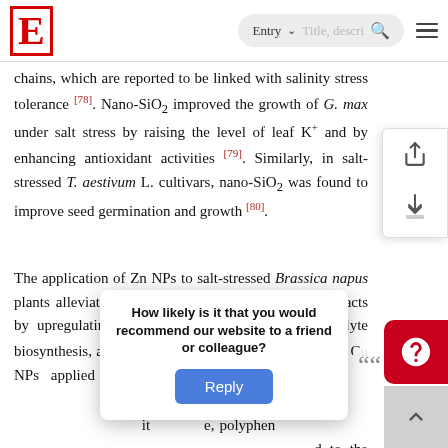E | Entry ∨ Title, descr... 🔍 ≡
chains, which are reported to be linked with salinity stress tolerance [78]. Nano-SiO₂ improved the growth of G. max under salt stress by raising the level of leaf K⁺ and by enhancing antioxidant activities [79]. Similarly, in salt-stressed T. aestivum L. cultivars, nano-SiO₂ was found to improve seed germination and growth [80].
The application of Zn NPs to salt-stressed Brassica napus plants alleviated the salinity-induced detrimental impacts by upregulating the antioxidative mechanism, osmolyte biosynthesis, and ionic control [81]. In S. lycopersicum, Cu NPs applied to the roots mitigated salinity stress, improving K⁺/Na⁺ ratio. Moreover, it enhanced antioxidant enzyme, polyphenol oxidase, and peroxidase activities compared to the control. Additionally, it increased anthocyanin content and SOD
How likely is it that you would recommend our website to a friend or colleague?
Reply